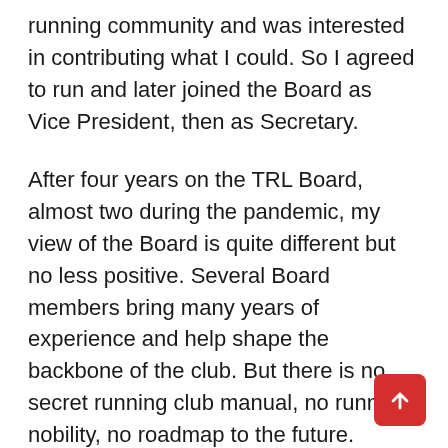running community and was interested in contributing what I could. So I agreed to run and later joined the Board as Vice President, then as Secretary.
After four years on the TRL Board, almost two during the pandemic, my view of the Board is quite different but no less positive. Several Board members bring many years of experience and help shape the backbone of the club. But there is no secret running club manual, no running nobility, no roadmap to the future. Nothing made this more plain than the pandemic. What makes the Board work is that its members love running. They are committed to supporting the running community because they recognize how important it is in each runner's life. They are committed to celebrating every success – whether it's qualifying for the Olympic marathon trials, a 5k PR, or venturing out of a warm